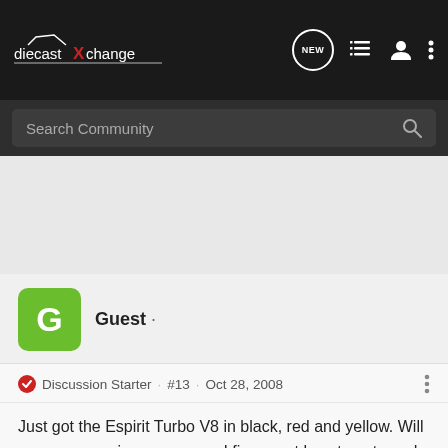diecastXchange
Search Community
Guest ·
Discussion Starter · #13 · Oct 28, 2008
Just got the Espirit Turbo V8 in black, red and yellow. Will snaps some pics as soon as I figure out how to get good resluts from my camera.